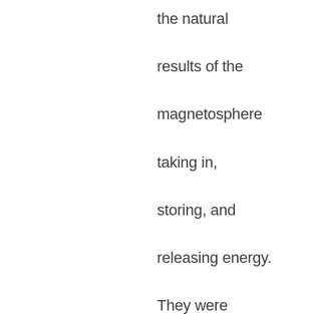the natural results of the magnetosphere taking in, storing, and releasing energy. They were explored in the 1950's by Dr. Syun-Ichi Akasofu of the University of Alaska Fairbanks, who